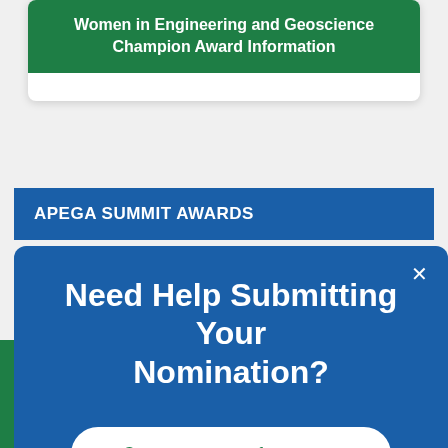Women in Engineering and Geoscience Champion Award Information
APEGA SUMMIT AWARDS
Award Categories
Nomination Information
Need Help Submitting Your Nomination?
Contact our team for support